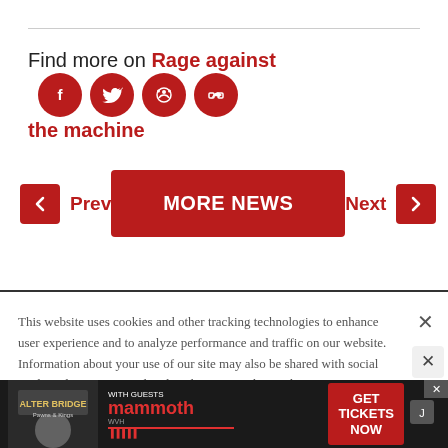Find more on Rage against the machine
Prev  MORE NEWS  Next
This website uses cookies and other tracking technologies to enhance user experience and to analyze performance and traffic on our website. Information about your use of our site may also be shared with social media, advertising, retail and analytics providers and partners. Privacy Policy
[Figure (photo): Alter Bridge Pawns & Kings concert advertisement with mammoth WVH and text GET TICKETS NOW]